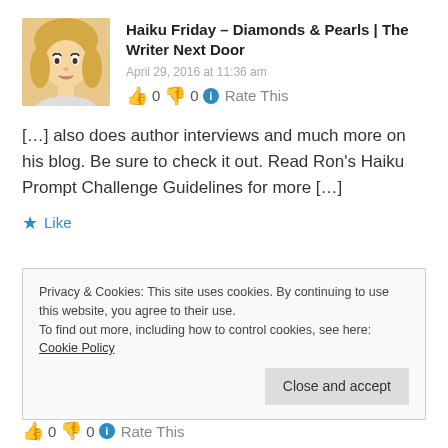Haiku Friday – Diamonds & Pearls | The Writer Next Door
April 29, 2016 at 11:36 am
👍 0 👎 0 ℹ Rate This
[…] also does author interviews and much more on his blog. Be sure to check it out. Read Ron's Haiku Prompt Challenge Guidelines for more […]
★ Like
Privacy & Cookies: This site uses cookies. By continuing to use this website, you agree to their use. To find out more, including how to control cookies, see here: Cookie Policy
Close and accept
👍 0 👎 0 ℹ Rate This